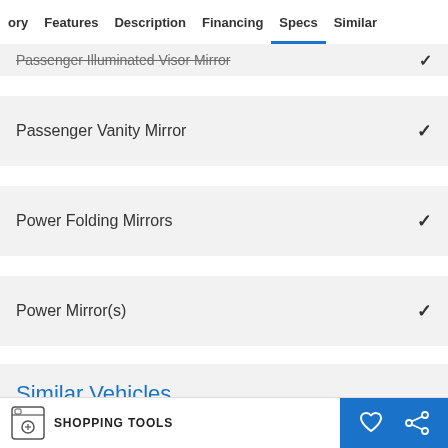ory   Features   Description   Financing   Specs   Similar
Passenger Illuminated Visor Mirror ✓
Passenger Vanity Mirror ✓
Power Folding Mirrors ✓
Power Mirror(s) ✓
Similar Vehicles
SHOPPING TOOLS